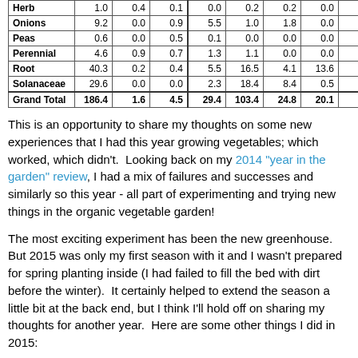|  |  |  |  |  |  |  |  |  |
| --- | --- | --- | --- | --- | --- | --- | --- | --- |
| Herb | 1.0 | 0.4 | 0.1 | 0.0 | 0.2 | 0.2 | 0.0 | 0.0 |
| Onions | 9.2 | 0.0 | 0.9 | 5.5 | 1.0 | 1.8 | 0.0 | 0.0 |
| Peas | 0.6 | 0.0 | 0.5 | 0.1 | 0.0 | 0.0 | 0.0 | 0.0 |
| Perennial | 4.6 | 0.9 | 0.7 | 1.3 | 1.1 | 0.0 | 0.0 | 0.6 |
| Root | 40.3 | 0.2 | 0.4 | 5.5 | 16.5 | 4.1 | 13.6 | 0.1 |
| Solanaceae | 29.6 | 0.0 | 0.0 | 2.3 | 18.4 | 8.4 | 0.5 | 0.0 |
| Grand Total | 186.4 | 1.6 | 4.5 | 29.4 | 103.4 | 24.8 | 20.1 | 2.5 |
This is an opportunity to share my thoughts on some new experiences that I had this year growing vegetables; which worked, which didn't.  Looking back on my 2014 "year in the garden" review, I had a mix of failures and successes and similarly so this year - all part of experimenting and trying new things in the organic vegetable garden!
The most exciting experiment has been the new greenhouse.  But 2015 was only my first season with it and I wasn't prepared for spring planting inside (I had failed to fill the bed with dirt before the winter).  It certainly helped to extend the season a little bit at the back end, but I think I'll hold off on sharing my thoughts for another year.  Here are some other things I did in 2015: